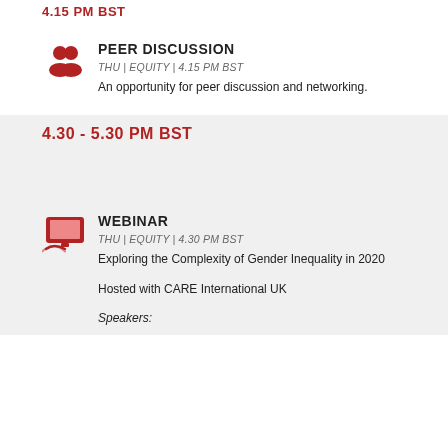4.15 PM BST
PEER DISCUSSION
THU | EQUITY | 4.15 PM BST
An opportunity for peer discussion and networking.
4.30 - 5.30 PM BST
WEBINAR
THU | EQUITY | 4.30 PM BST
Exploring the Complexity of Gender Inequality in 2020
Hosted with CARE International UK
Speakers: